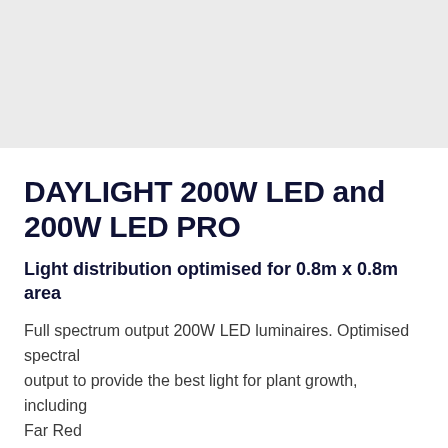[Figure (photo): Gray banner area at the top of the page, likely placeholder for a product image]
DAYLIGHT 200W LED and 200W LED PRO
Light distribution optimised for 0.8m x 0.8m area
Full spectrum output 200W LED luminaires. Optimised spectral output to provide the best light for plant growth, including Far Red